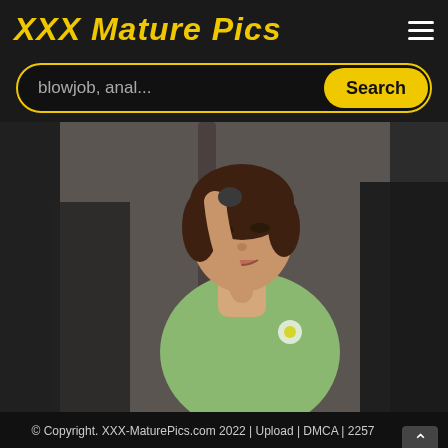XXX Mature Pics
blowjob, anal...
Search
[Figure (photo): A middle-aged Asian woman in a green floral top standing in what appears to be a crowded space, with other people visible around her.]
© Copyright. XXX-MaturePics.com 2022 | Upload | DMCA | 2257